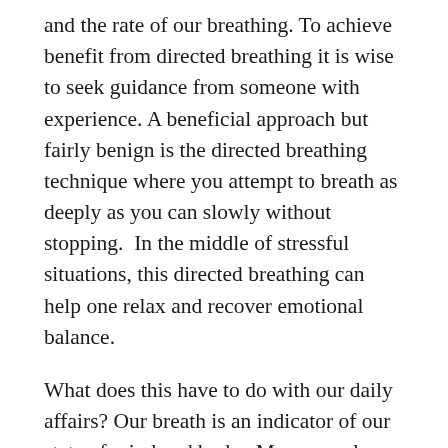and the rate of our breathing. To achieve benefit from directed breathing it is wise to seek guidance from someone with experience. A beneficial approach but fairly benign is the directed breathing technique where you attempt to breath as deeply as you can slowly without stopping.  In the middle of stressful situations, this directed breathing can help one relax and recover emotional balance.
What does this have to do with our daily affairs? Our breath is an indicator of our state of mind and body.  Many people breath in shallow manners not taking in energy for various reasons like stress or emotional difficulties.  This is restricting the exchange of